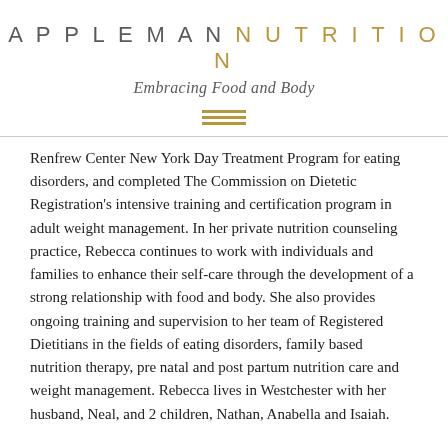APPLEMAN NUTRITION
Embracing Food and Body
Renfrew Center New York Day Treatment Program for eating disorders, and completed The Commission on Dietetic Registration's intensive training and certification program in adult weight management. In her private nutrition counseling practice, Rebecca continues to work with individuals and families to enhance their self-care through the development of a strong relationship with food and body. She also provides ongoing training and supervision to her team of Registered Dietitians in the fields of eating disorders, family based nutrition therapy, pre natal and post partum nutrition care and weight management. Rebecca lives in Westchester with her husband, Neal, and 2 children, Nathan, Anabella and Isaiah.